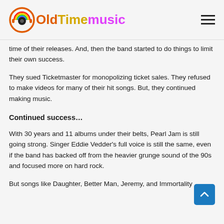OldTimemusic
time of their releases. And, then the band started to do things to limit their own success.
They sued Ticketmaster for monopolizing ticket sales. They refused to make videos for many of their hit songs. But, they continued making music.
Continued success…
With 30 years and 11 albums under their belts, Pearl Jam is still going strong. Singer Eddie Vedder's full voice is still the same, even if the band has backed off from the heavier grunge sound of the 90s and focused more on hard rock.
But songs like Daughter, Better Man, Jeremy, and Immortality